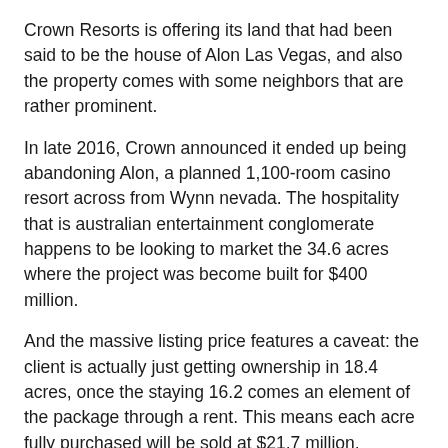Crown Resorts is offering its land that had been said to be the house of Alon Las Vegas, and also the property comes with some neighbors that are rather prominent.
In late 2016, Crown announced it ended up being abandoning Alon, a planned 1,100-room casino resort across from Wynn nevada. The hospitality that is australian entertainment conglomerate happens to be looking to market the 34.6 acres where the project was become built for $400 million.
And the massive listing price features a caveat: the client is actually just getting ownership in 18.4 acres, once the staying 16.2 comes an element of the package through a rent. This means each acre fully purchased will be sold at $21.7 million.
CBRE Group, a realty firm that recently executed the Las Vegas Raiders' land acquisition, is listing the property. The realtor that is commercial the Alon location warrants the price.